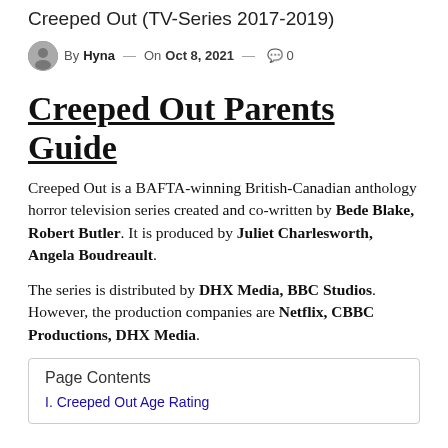Creeped Out (TV-Series 2017-2019)
By Hyna — On Oct 8, 2021 — 0
Creeped Out Parents Guide
Creeped Out is a BAFTA-winning British-Canadian anthology horror television series created and co-written by Bede Blake, Robert Butler. It is produced by Juliet Charlesworth, Angela Boudreault.
The series is distributed by DHX Media, BBC Studios. However, the production companies are Netflix, CBBC Productions, DHX Media.
Page Contents
I. Creeped Out Age Rating